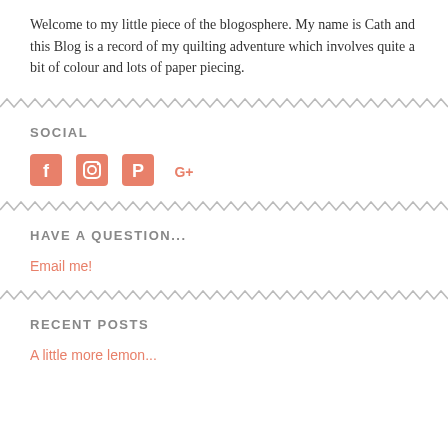Welcome to my little piece of the blogosphere. My name is Cath and this Blog is a record of my quilting adventure which involves quite a bit of colour and lots of paper piecing.
SOCIAL
[Figure (infographic): Four social media icons (Facebook, Instagram, Pinterest, Google+) rendered as salmon/coral colored square icons]
HAVE A QUESTION...
Email me!
RECENT POSTS
A little more lemon...